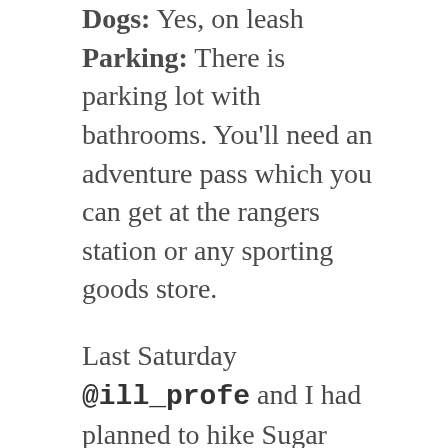Dogs: Yes, on leash
Parking: There is parking lot with bathrooms. You'll need an adventure pass which you can get at the rangers station or any sporting goods store.
Last Saturday @ill_profe and I had planned to hike Sugar Loaf in Big Bear but there was some event going on where cars were lined up the streets and bouncy houses were at the trailhead and we were like, yeaaaaahhhh passssss.
Since we'd made the drive out I racked my brain for an alternate and came up with the